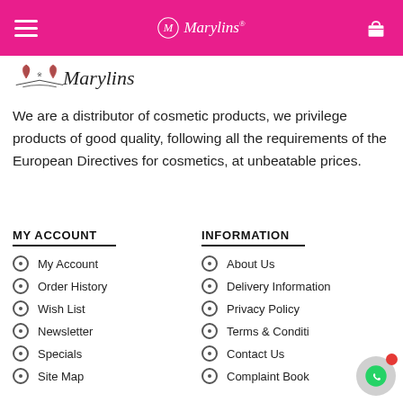Marylins - navigation bar with hamburger menu and cart icon
[Figure (logo): Marylins brand logo with decorative leaf/floral emblem and italic script text]
We are a distributor of cosmetic products, we privilege products of good quality, following all the requirements of the European Directives for cosmetics, at unbeatable prices.
MY ACCOUNT
My Account
Order History
Wish List
Newsletter
Specials
Site Map
INFORMATION
About Us
Delivery Information
Privacy Policy
Terms & Conditi
Contact Us
Complaint Book